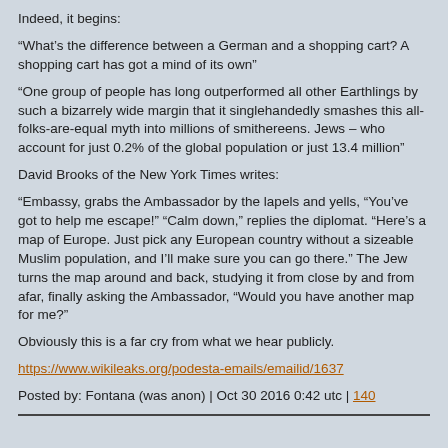Indeed, it begins:
“What’s the difference between a German and a shopping cart? A shopping cart has got a mind of its own”
“One group of people has long outperformed all other Earthlings by such a bizarrely wide margin that it singlehandedly smashes this all-folks-are-equal myth into millions of smithereens. Jews – who account for just 0.2% of the global population or just 13.4 million”
David Brooks of the New York Times writes:
“Embassy, grabs the Ambassador by the lapels and yells, “You’ve got to help me escape!” “Calm down,” replies the diplomat. “Here’s a map of Europe. Just pick any European country without a sizeable Muslim population, and I’ll make sure you can go there.” The Jew turns the map around and back, studying it from close by and from afar, finally asking the Ambassador, “Would you have another map for me?”
Obviously this is a far cry from what we hear publicly.
https://www.wikileaks.org/podesta-emails/emailid/1637
Posted by: Fontana (was anon) | Oct 30 2016 0:42 utc | 140